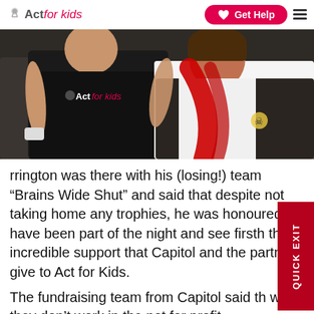Act for kids | Get Help
[Figure (photo): Two people posing together; one wearing a black Act for Kids branded t-shirt, the other wearing a white shirt with red scarf and dark vest]
rrington was there with his (losing!) team “Brains Wide Shut” and said that despite not taking home any trophies, he was honoured to have been part of the night and see firsthand the incredible support that Capitol and their partners give to Act for Kids.
The fundraising team from Capitol said that while they don’t work in the not for profit